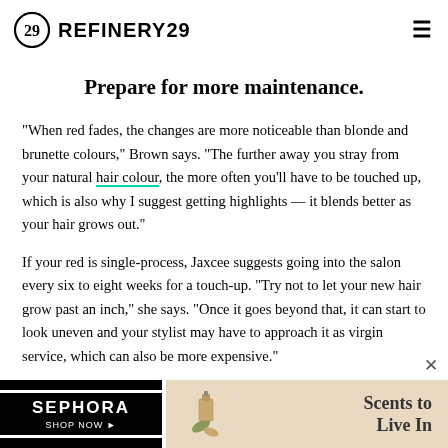REFINERY29
Prepare for more maintenance.
"When red fades, the changes are more noticeable than blonde and brunette colours," Brown says. "The further away you stray from your natural hair colour, the more often you'll have to be touched up, which is also why I suggest getting highlights — it blends better as your hair grows out."
If your red is single-process, Jaxcee suggests going into the salon every six to eight weeks for a touch-up. "Try not to let your new hair grow past an inch," she says. "Once it goes beyond that, it can start to look uneven and your stylist may have to approach it as virgin service, which can also be more expensive."
[Figure (other): Sephora advertisement banner with 'Scents to Live In' tagline and perfume bottle imagery]